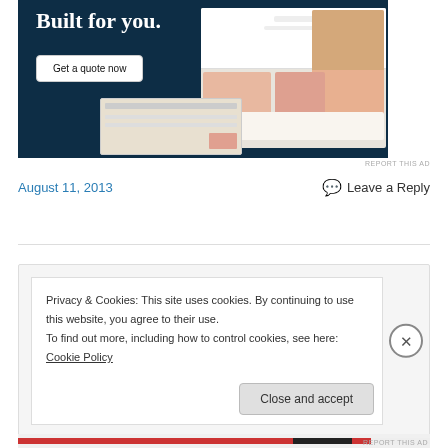[Figure (photo): Advertisement banner with dark navy background reading 'Built for you.' with a 'Get a quote now' button and fashion/product website screenshot on the right]
REPORT THIS AD
August 11, 2013
Leave a Reply
Privacy & Cookies: This site uses cookies. By continuing to use this website, you agree to their use.
To find out more, including how to control cookies, see here: Cookie Policy
Close and accept
REPORT THIS AD